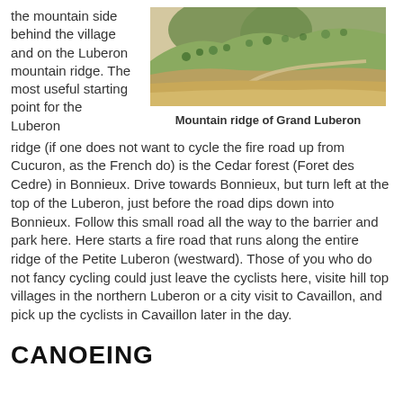the mountain side behind the village and on the Luberon mountain ridge. The most useful starting point for the Luberon
[Figure (photo): Mountain ridge landscape of Grand Luberon showing rolling hills with sparse trees and a winding road]
Mountain ridge of Grand Luberon
ridge (if one does not want to cycle the fire road up from Cucuron, as the French do) is the Cedar forest (Foret des Cedre) in Bonnieux. Drive towards Bonnieux, but turn left at the top of the Luberon, just before the road dips down into Bonnieux. Follow this small road all the way to the barrier and park here. Here starts a fire road that runs along the entire ridge of the Petite Luberon (westward). Those of you who do not fancy cycling could just leave the cyclists here, visite hill top villages in the northern Luberon or a city visit to Cavaillon, and pick up the cyclists in Cavaillon later in the day.
CANOEING